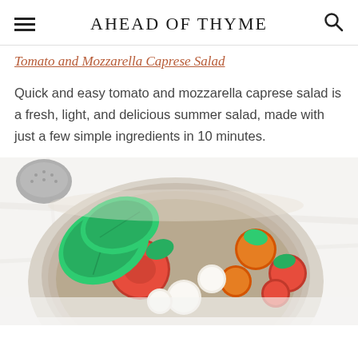AHEAD OF THYME
Tomato and Mozzarella Caprese Salad
Quick and easy tomato and mozzarella caprese salad is a fresh, light, and delicious summer salad, made with just a few simple ingredients in 10 minutes.
[Figure (photo): A bowl containing caprese salad with fresh basil leaves, cherry tomatoes, and mozzarella balls, viewed from above on a white marble surface.]